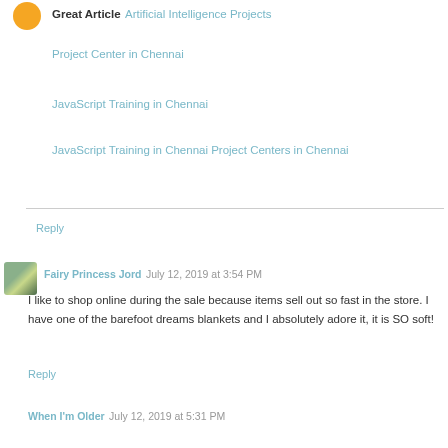Great Article Artificial Intelligence Projects
Project Center in Chennai
JavaScript Training in Chennai
JavaScript Training in Chennai Project Centers in Chennai
Reply
Fairy Princess Jord July 12, 2019 at 3:54 PM
I like to shop online during the sale because items sell out so fast in the store. I have one of the barefoot dreams blankets and I absolutely adore it, it is SO soft!
Reply
When I'm Older July 12, 2019 at 5:31 PM